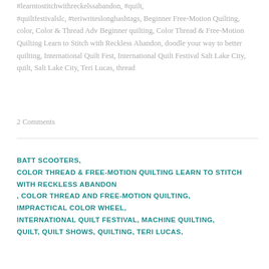#learntostitchwithreckelssabandon, #quilt, #quiltfestivalslc, #teriwriteslonghashtags, Beginner Free-Motion Quilting, color, Color & Thread Adv Beginner quilting, Color Thread & Free-Motion Quilting Learn to Stitch with Reckless Abandon, doodle your way to better quilting, International Quilt Fest, International Quilt Festival Salt Lake City, quilt, Salt Lake City, Teri Lucas, thread
2 Comments
BATT SCOOTERS, COLOR THREAD & FREE-MOTION QUILTING LEARN TO STITCH WITH RECKLESS ABANDON , COLOR THREAD AND FREE-MOTION QUILTING, IMPRACTICAL COLOR WHEEL, INTERNATIONAL QUILT FESTIVAL, MACHINE QUILTING, QUILT, QUILT SHOWS, QUILTING, TERI LUCAS,